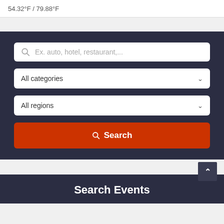54.32°F / 79.88°F
[Figure (screenshot): Search form UI with dark navy background containing a text input field with placeholder 'Ex. auto, hotel, restaurant,...', a dropdown for 'All categories', a dropdown for 'All regions', and an orange 'Search' button.]
Search Events